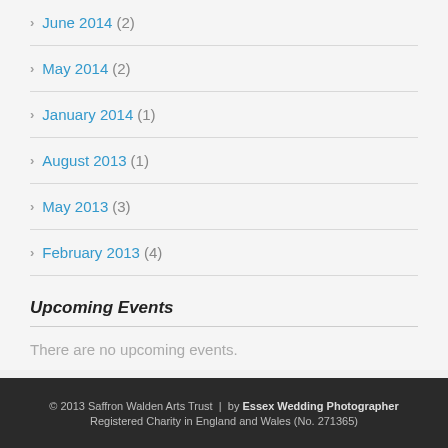June 2014 (2)
May 2014 (2)
January 2014 (1)
August 2013 (1)
May 2013 (3)
February 2013 (4)
Upcoming Events
There are no upcoming events.
View Calendar →
© 2013 Saffron Walden Arts Trust | by Essex Wedding Photographer
Registered Charity in England and Wales (No. 271365)